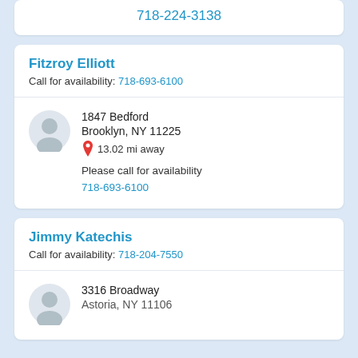718-224-3138
Fitzroy Elliott
Call for availability: 718-693-6100
1847 Bedford
Brooklyn, NY 11225
13.02 mi away
Please call for availability
718-693-6100
Jimmy Katechis
Call for availability: 718-204-7550
3316 Broadway
Astoria, NY 11106